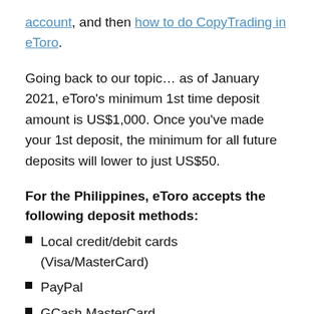account, and then how to do CopyTrading in eToro.
Going back to our topic… as of January 2021, eToro's minimum 1st time deposit amount is US$1,000. Once you've made your 1st deposit, the minimum for all future deposits will lower to just US$50.
For the Philippines, eToro accepts the following deposit methods:
Local credit/debit cards (Visa/MasterCard)
PayPal
GCash MasterCard
PayMaya Visa or MasterCard
Local online banking (currently not available as of